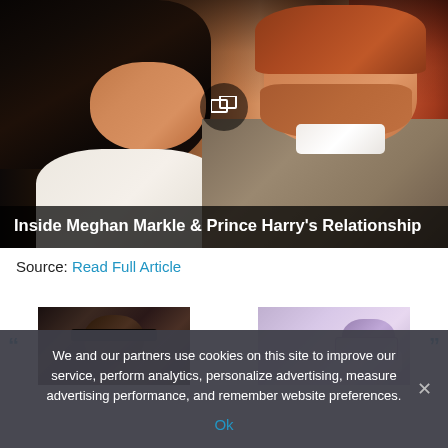[Figure (photo): Photo of Meghan Markle and Prince Harry sitting together, looking at each other, with a gallery icon overlay in the center. A dark overlay bar at the bottom of the image contains the title text.]
Inside Meghan Markle & Prince Harry's Relationship
Source: Read Full Article
[Figure (photo): Two small thumbnail images side by side with left and right navigation arrows. Left thumbnail shows a dark image of a person with sunglasses. Right thumbnail shows a person at a desk with a laptop.]
We and our partners use cookies on this site to improve our service, perform analytics, personalize advertising, measure advertising performance, and remember website preferences.
Ok